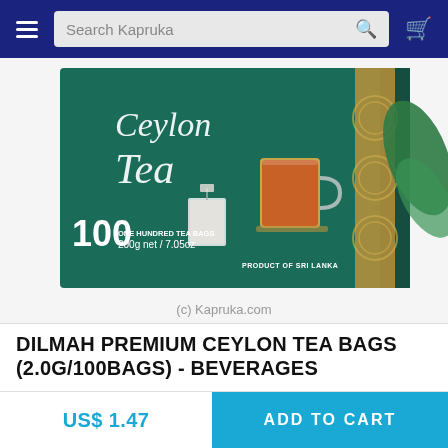Search Kapruka
[Figure (photo): Dilmah Premium Ceylon Tea Bags box — green packaging showing '100 ONE HUNDRED TEA BAGS 200g net / 7.05oz PRODUCT OF SRI LANKA', with a glass cup of red tea and tea bag images. Watermark: (c) Kapruka.com]
(c) Kapruka.com
DILMAH PREMIUM CEYLON TEA BAGS (2.0G/100BAGS) - BEVERAGES
US$ 1.47
US$ 1.47
ADD TO CART